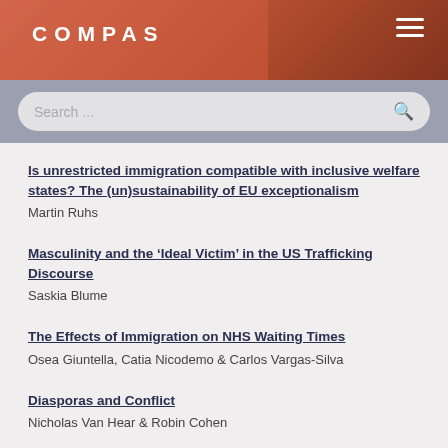COMPAS
Is unrestricted immigration compatible with inclusive welfare states? The (un)sustainability of EU exceptionalism — Martin Ruhs
Masculinity and the ‘Ideal Victim’ in the US Trafficking Discourse — Saskia Blume
The Effects of Immigration on NHS Waiting Times — Osea Giuntella, Catia Nicodemo & Carlos Vargas-Silva
Diasporas and Conflict — Nicholas Van Hear & Robin Cohen